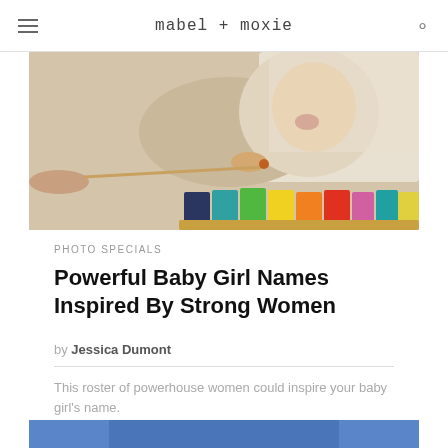mabel + moxie
[Figure (photo): Baby lying on stomach with a wooden xylophone toy, reaching toward a stick held by an adult hand, wearing a cream knit blanket]
PHOTO SPECIALS
Powerful Baby Girl Names Inspired By Strong Women
by Jessica Dumont
This roster of powerhouse women could inspire your baby girl's name.
[Figure (photo): Partial view of a person wearing a blue hat or headband with text 'STAY' visible]